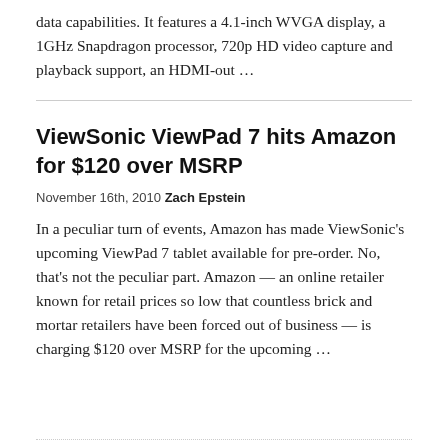data capabilities. It features a 4.1-inch WVGA display, a 1GHz Snapdragon processor, 720p HD video capture and playback support, an HDMI-out …
ViewSonic ViewPad 7 hits Amazon for $120 over MSRP
November 16th, 2010 Zach Epstein
In a peculiar turn of events, Amazon has made ViewSonic's upcoming ViewPad 7 tablet available for pre-order. No, that's not the peculiar part. Amazon — an online retailer known for retail prices so low that countless brick and mortar retailers have been forced out of business — is charging $120 over MSRP for the upcoming …